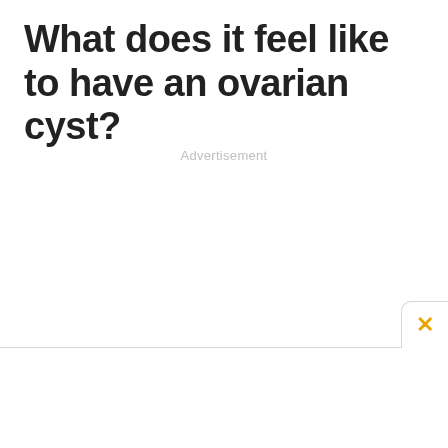What does it feel like to have an ovarian cyst?
Advertisement